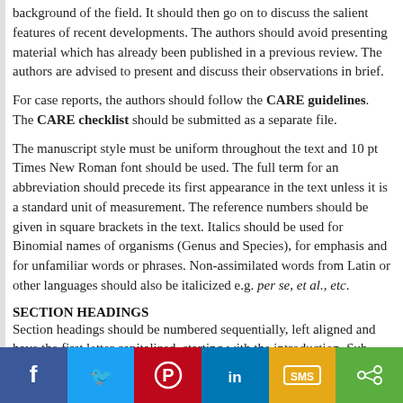background of the field. It should then go on to discuss the salient features of recent developments. The authors should avoid presenting material which has already been published in a previous review. The authors are advised to present and discuss their observations in brief.
For case reports, the authors should follow the CARE guidelines. The CARE checklist should be submitted as a separate file.
The manuscript style must be uniform throughout the text and 10 pt Times New Roman font should be used. The full term for an abbreviation should precede its first appearance in the text unless it is a standard unit of measurement. The reference numbers should be given in square brackets in the text. Italics should be used for Binomial names of organisms (Genus and Species), for emphasis and for unfamiliar words or phrases. Non-assimilated words from Latin or other languages should also be italicized e.g. per se, et al., etc.
SECTION HEADINGS
Section headings should be numbered sequentially, left aligned and have the first letter capitalized, starting with the introduction. Sub-section headings however, should be in lower-case and italicized with their initials capitalized. They should have a number of the 1.1 font...